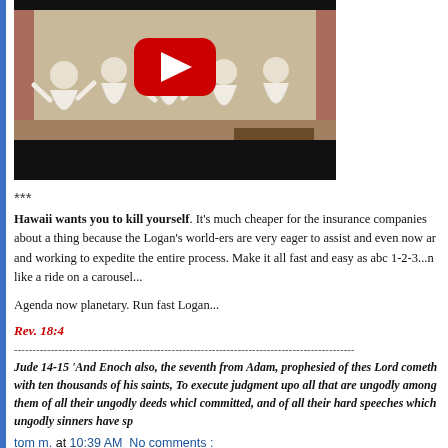[Figure (screenshot): YouTube video thumbnail showing choir performers in white robes with YouTube play button overlay, dark background at bottom]
***
Hawaii wants you to kill yourself. It's much cheaper for the insurance companies about a thing because the Logan's world-ers are very eager to assist and even now ar and working to expedite the entire process. Make it all fast and easy as abc 1-2-3...n like a ride on a carousel...
Agenda now planetary. Run fast Logan...
Rev. 18:4
--------------------------------------------------------------------------------
Jude 14-15 'And Enoch also, the seventh from Adam, prophesied of thes Lord cometh with ten thousands of his saints, To execute judgment upo all that are ungodly among them of all their ungodly deeds which committed, and of all their hard speeches which ungodly sinners have sp
tom m. at 10:39 AM  No comments :
12/12/18